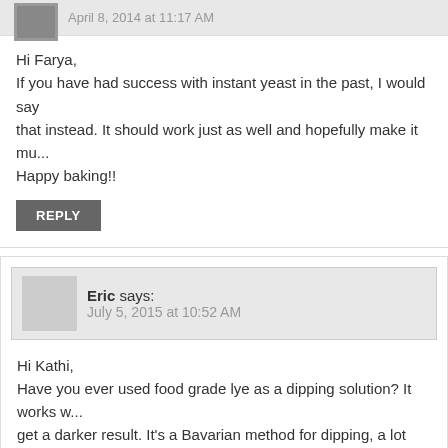Hi Farya,
If you have had success with instant yeast in the past, I would say that instead. It should work just as well and hopefully make it mu...
Happy baking!!
REPLY
Eric says:
July 5, 2015 at 10:52 AM
Hi Kathi,
Have you ever used food grade lye as a dipping solution? It works w... get a darker result. It's a Bavarian method for dipping, a lot like you... plan to try this dipping method with your other pretzel recipes, as w...
REPLY
Diana Speck says: